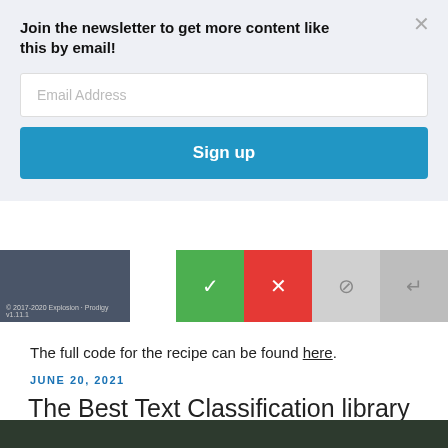Join the newsletter to get more content like this by email!
Email Address
Sign up
[Figure (screenshot): Screenshot of a dark-themed code editor with four action buttons: green checkmark, red X, gray circle-slash, gray return arrow]
The full code for the recipe can be found here.
JUNE 20, 2021
The Best Text Classification library for a Quick Baseline
[Figure (photo): Bottom edge of a photo, dark green background, partially visible]